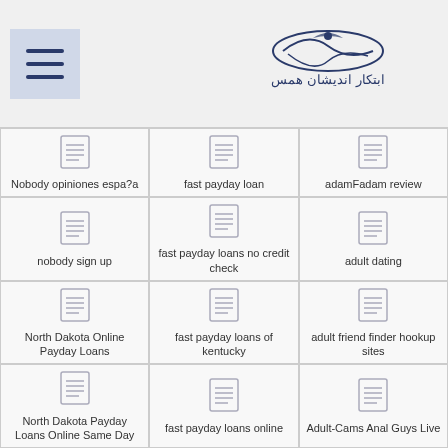Navigation header with hamburger menu and logo
| Column 1 | Column 2 | Column 3 |
| --- | --- | --- |
| Nobody opiniones espa?a | fast payday loan | adamFadam review |
| nobody sign up | fast payday loans no credit check | adult dating |
| North Dakota Online Payday Loans | fast payday loans of kentucky | adult friend finder hookup sites |
| North Dakota Payday Loans Online Same Day | fast payday loans online | Adult-Cams Anal Guys Live |